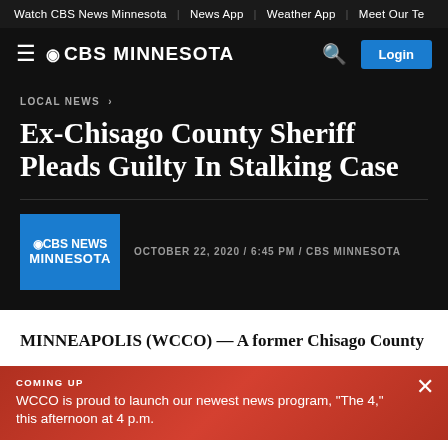Watch CBS News Minnesota | News App | Weather App | Meet Our Te
CBS MINNESOTA | Login
LOCAL NEWS ›
Ex-Chisago County Sheriff Pleads Guilty In Stalking Case
OCTOBER 22, 2020 / 6:45 PM / CBS MINNESOTA
MINNEAPOLIS (WCCO) — A former Chisago County
COMING UP
WCCO is proud to launch our newest news program, "The 4," this afternoon at 4 p.m.